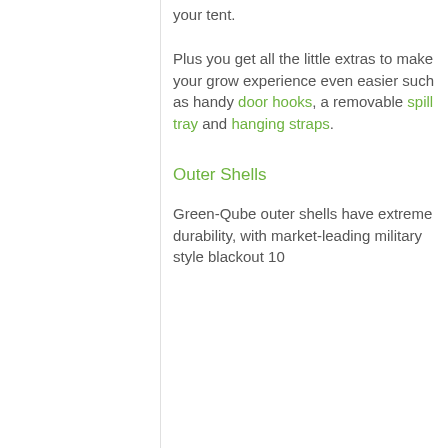your tent.
Plus you get all the little extras to make your grow experience even easier such as handy door hooks, a removable spill tray and hanging straps.
Outer Shells
Green-Qube outer shells have extreme durability, with market-leading military style blackout 10